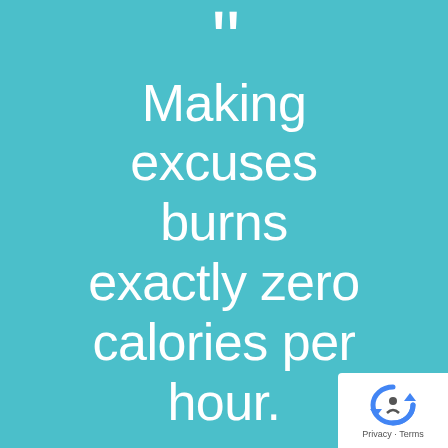[Figure (infographic): Teal/turquoise background motivational quote infographic with large white thin-weight text reading: " Making excuses burns exactly zero calories per hour." with decorative quotation marks at top.]